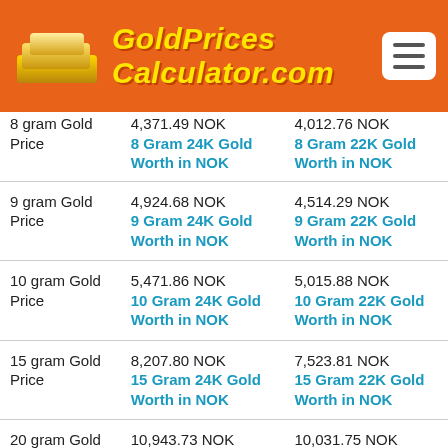GoldPrices Calculator.com
|  | 24K | 22K |
| --- | --- | --- |
| 8 gram Gold Price | 4,371.49 NOK
8 Gram 24K Gold Worth in NOK | 4,012.76 NOK
8 Gram 22K Gold Worth in NOK |
| 9 gram Gold Price | 4,924.68 NOK
9 Gram 24K Gold Worth in NOK | 4,514.29 NOK
9 Gram 22K Gold Worth in NOK |
| 10 gram Gold Price | 5,471.86 NOK
10 Gram 24K Gold Worth in NOK | 5,015.88 NOK
10 Gram 22K Gold Worth in NOK |
| 15 gram Gold Price | 8,207.80 NOK
15 Gram 24K Gold Worth in NOK | 7,523.81 NOK
15 Gram 22K Gold Worth in NOK |
| 20 gram Gold Price | 10,943.73 NOK
20 Gram 24K Gold Worth in NOK | 10,031.75 NOK
20 Gram 22K Gold Worth in NOK |
| 25 gram | 13,679.66 NOK | 12,539.69 NOK |